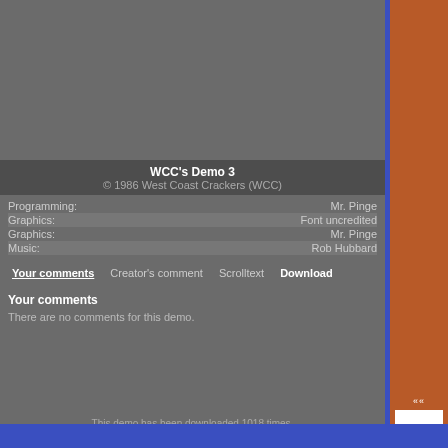[Figure (screenshot): Grey preview area for a C64 demo]
WCC's Demo 3
© 1986 West Coast Crackers (WCC)
| Role | Credit |
| --- | --- |
| Programming: | Mr. Pinge |
| Graphics: | Font uncredited |
| Graphics: | Mr. Pinge |
| Music: | Rob Hubbard |
Your comments | Creator's comment | Scrolltext | Download
Your comments
There are no comments for this demo.
This demo has been downloaded 1018 times.
Direct link: www.c64.com?type=2&id=690.